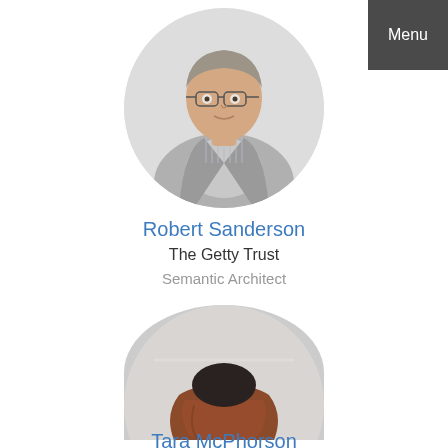[Figure (photo): Circular portrait photo of Robert Sanderson, a middle-aged man wearing glasses and a grey blazer over a striped shirt, against a light background.]
Robert Sanderson
The Getty Trust
Semantic Architect
[Figure (photo): Circular photo of an art sculpture/figure: a headless torso-like form in a dark top with a billowing red-brown skirt, standing on orange-stockinged legs, displayed in a gallery setting.]
Tara McPherson